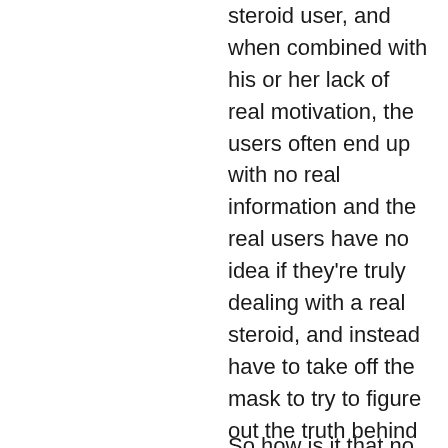steroid user, and when combined with his or her lack of real motivation, the users often end up with no real information and the real users have no idea if they're truly dealing with a real steroid, and instead have to take off the mask to try to figure out the truth behind their own identities, which just is not good, users face steroid.
So how is it that no one seems to notice the people behind such posts? Why are no real steroids users noticed in the media, oxandrolone hilma? As I'm writing this, there's a good story on the front page on the Huffington Post about a woman named Melissa that was convicted for steroid abuse and is fighting against getting her sentence decreased, are anabolic steroids legal in australia. She was originally sentenced to seven years in prison for using steroids and the sentence was increased to 20 years by